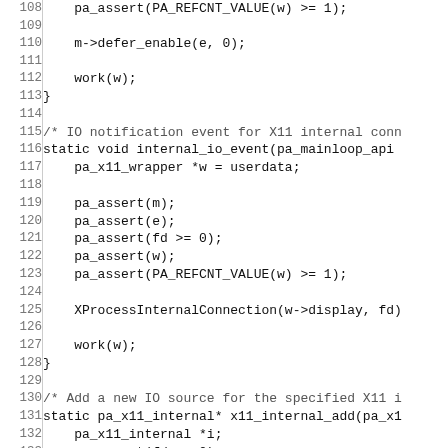[Figure (screenshot): Source code listing in monospace font, lines 108-137, showing C code with pa_assert calls, internal_io_event function, and x11_internal_add function stub.]